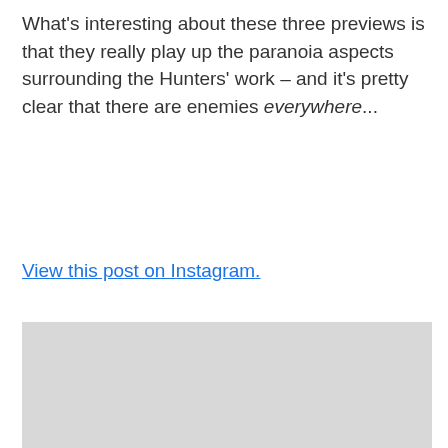What's interesting about these three previews is that they really play up the paranoia aspects surrounding the Hunters' work – and it's pretty clear that there are enemies everywhere...
View this post on Instagram.
[Figure (other): Large grey placeholder rectangle representing an embedded Instagram post]
View this post on Instagram.